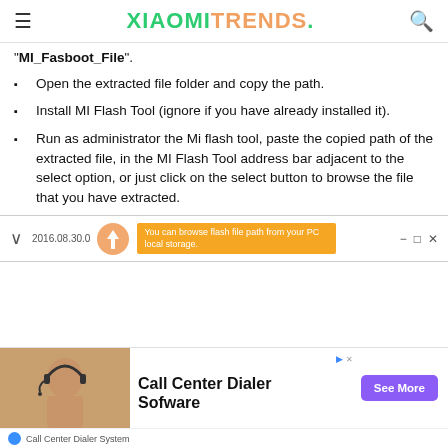XIAOMITRENDS.
“MI_Fasboot_File”.
Open the extracted file folder and copy the path.
Install MI Flash Tool (ignore if you have already installed it).
Run as administrator the Mi flash tool, paste the copied path of the extracted file, in the MI Flash Tool address bar adjacent to the select option, or just click on the select button to browse the file that you have extracted.
[Figure (screenshot): Screenshot strip of MI Flash Tool interface showing date 2016.08.30.0 and tooltip 'You can browse flash file path from your PC local storage']
[Figure (infographic): Advertisement banner for Call Center Dialer Software with image of woman wearing headset, See More button, and Call Center Dialer System footer]